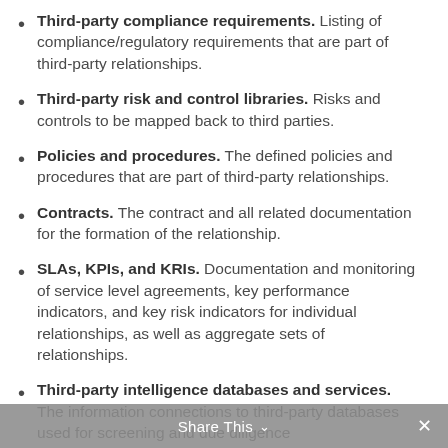Third-party compliance requirements. Listing of compliance/regulatory requirements that are part of third-party relationships.
Third-party risk and control libraries. Risks and controls to be mapped back to third parties.
Policies and procedures. The defined policies and procedures that are part of third-party relationships.
Contracts. The contract and all related documentation for the formation of the relationship.
SLAs, KPIs, and KRIs. Documentation and monitoring of service level agreements, key performance indicators, and key risk indicators for individual relationships, as well as aggregate sets of relationships.
Third-party intelligence databases and services. The information connections to third-party databases used for screening and due diligence
Share This